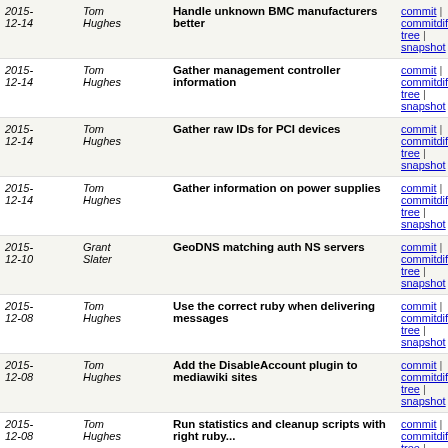| Date | Author | Commit message | Actions |
| --- | --- | --- | --- |
| 2015-12-14 | Tom Hughes | Handle unknown BMC manufacturers better | commit | commitdiff | tree | snapshot |
| 2015-12-14 | Tom Hughes | Gather management controller information | commit | commitdiff | tree | snapshot |
| 2015-12-14 | Tom Hughes | Gather raw IDs for PCI devices | commit | commitdiff | tree | snapshot |
| 2015-12-14 | Tom Hughes | Gather information on power supplies | commit | commitdiff | tree | snapshot |
| 2015-12-10 | Grant Slater | GeoDNS matching auth NS servers | commit | commitdiff | tree | snapshot |
| 2015-12-08 | Tom Hughes | Use the correct ruby when delivering messages | commit | commitdiff | tree | snapshot |
| 2015-12-08 | Tom Hughes | Add the DisableAccount plugin to mediawiki sites | commit | commitdiff | tree | snapshot |
| 2015-12-08 | Tom Hughes | Run statistics and cleanup scripts with right ruby... | commit | commitdiff | tree | snapshot |
| 2015-12-07 | Tom Hughes | Use ruby 2.1 for rails checkout on database servers | commit | commitdiff | tree | snapshot |
| 2015-12-07 | Tom Hughes | Install taginfo gems using the correct gem binary | commit | commitdiff | tree | snapshot |
| 2015- | Tom | Don't try and install rubygems for | commit | commitdiff |